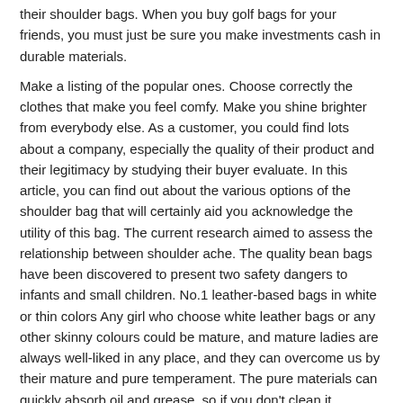their shoulder bags. When you buy golf bags for your friends, you must just be sure you make investments cash in durable materials.
Make a listing of the popular ones. Choose correctly the clothes that make you feel comfy. Make you shine brighter from everybody else. As a customer, you could find lots about a company, especially the quality of their product and their legitimacy by studying their buyer evaluate. In this article, you can find out about the various options of the shoulder bag that will certainly aid you acknowledge the utility of this bag. The current research aimed to assess the relationship between shoulder ache. The quality bean bags have been discovered to present two safety dangers to infants and small children. No.1 leather-based bags in white or thin colors Any girl who choose white leather bags or any other skinny colours could be mature, and mature ladies are always well-liked in any place, and they can overcome us by their mature and pure temperament. The pure materials can quickly absorb oil and grease, so if you don’t clean it properly, the bag will wear out quickly, regardless of how good the fabric is. This larger bag is made of natural leather-based and made to final by way of the seasons, coming in a beautiful dark crimson as well as in brown, black and navy blue.
Share this: